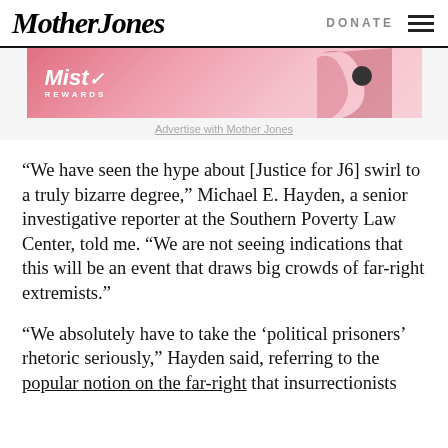Mother Jones   DONATE
[Figure (illustration): Mother Jones advertisement banner showing 'Mist Rewards' logo with pink gradient background and abstract shapes]
Advertise with Mother Jones
“We have seen the hype about [Justice for J6] swirl to a truly bizarre degree,” Michael E. Hayden, a senior investigative reporter at the Southern Poverty Law Center, told me. “We are not seeing indications that this will be an event that draws big crowds of far-right extremists.”
“We absolutely have to take the ‘political prisoners’ rhetoric seriously,” Hayden said, referring to the popular notion on the far-right that insurrectionists